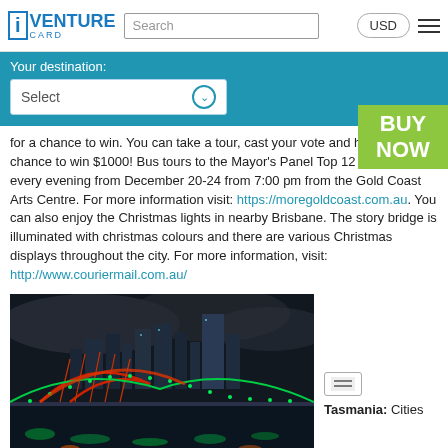iVENTURE CARD | Search | USD
Your destination: Select | BUY NOW
for a chance to win. You can take a tour, cast your vote and have a chance to win $1000! Bus tours to the Mayor's Panel Top 12 will depart every evening from December 20-24 from 7:00 pm from the Gold Coast Arts Centre. For more information visit: https://moregoldcoast.com.au. You can also enjoy the Christmas lights in nearby Brisbane. The story bridge is illuminated with christmas colours and there are various Christmas displays throughout the city. For more information, visit: http://www.couriermail.com.au/
[Figure (photo): Night photo of the Story Bridge in Brisbane illuminated with Christmas lights (green and red), with city skyline reflected in the river.]
Tasmania: Cities